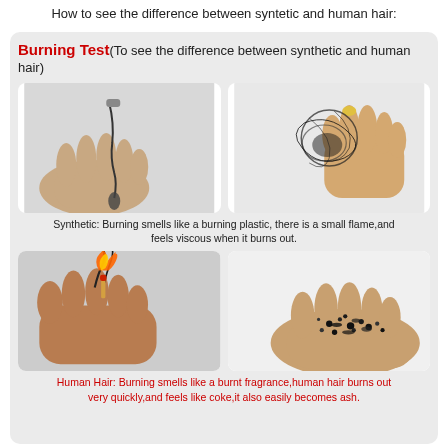How to see the difference between syntetic and human hair:
Burning Test (To see the difference between synthetic and human hair)
[Figure (photo): Two photos showing synthetic hair burning test: left photo shows hand holding melted/dripping synthetic hair strand, right photo shows hand holding burnt synthetic hair that has curled up into a ball]
Synthetic: Burning smells like a burning plastic, there is a small flame,and feels viscous when it burns out.
[Figure (photo): Two photos showing human hair burning test: left photo shows hand holding burning hair with flame, right photo shows hand with black ash residue from burned human hair]
Human Hair: Burning smells like a burnt fragrance,human hair burns out very quickly,and feels like coke,it also easily becomes ash.